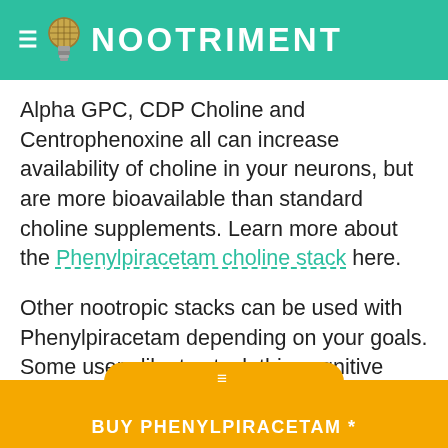NOOTRIMENT
Alpha GPC, CDP Choline and Centrophenoxine all can increase availability of choline in your neurons, but are more bioavailable than standard choline supplements. Learn more about the Phenylpiracetam choline stack here.
Other nootropic stacks can be used with Phenylpiracetam depending on your goals. Some users like to stack this cognitive enhancer with the smart drugs Modafinil, Adrafinil or Adderall. Others recommend stacking it with additional racetams or with Noopept.
BUY PHENYLPIRACETAM *